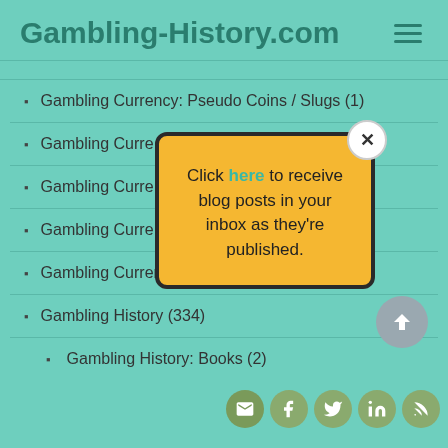Gambling-History.com
Gambling Currency: Pseudo Coins / Slugs (1)
Gambling Curre[ncy: ...] (partially hidden)
Gambling Curre[ncy: ...] (partially hidden)
Gambling Curre[ncy: ... osters] (1)
Gambling Currency: Tokens / Bingles (1)
Gambling History (334)
Gambling History: Books (2)
[Figure (infographic): Yellow popup dialog with close button (X), text: Click here to receive blog posts in your inbox as they're published.]